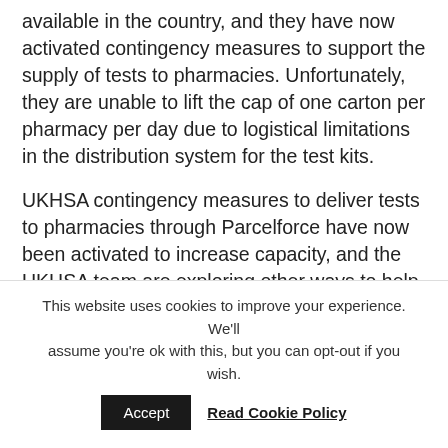available in the country, and they have now activated contingency measures to support the supply of tests to pharmacies. Unfortunately, they are unable to lift the cap of one carton per pharmacy per day due to logistical limitations in the distribution system for the test kits.
UKHSA contingency measures to deliver tests to pharmacies through Parcelforce have now been activated to increase capacity, and the UKHSA team are exploring other ways to help increase the flow of stock to pharmacies. We hope to see the positive impact of these contingency measures very soon. To help manage the demand on the direct to home ordering service we are asking:
This website uses cookies to improve your experience. We'll assume you're ok with this, but you can opt-out if you wish.
Accept   Read Cookie Policy